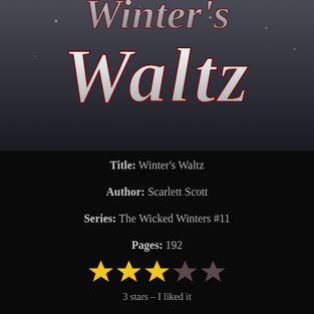[Figure (illustration): Book cover image for Winter's Waltz showing stylized title text 'Waltz' in decorative silver/white script on a dark wintry background]
Title: Winter's Waltz
Author: Scarlett Scott
Series: The Wicked Winters #11
Pages: 192
[Figure (infographic): 5-star rating display showing 3 filled gold stars and 2 dark/grey stars]
3 stars – I liked it